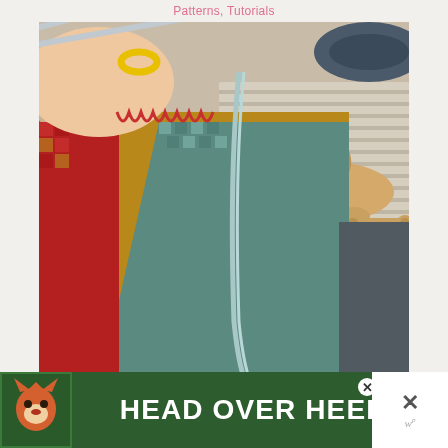Patterns, Tutorials
[Figure (photo): Close-up photo of hands knitting a colorful mosaic knit blanket in red, mustard yellow, teal/green, and grey/cream colors, with metal knitting needles and a small loop of yellow yarn. In the background, a small fluffy light brown puppy lies on a striped mat next to a small wooden bone toy.]
[Figure (photo): Partial view of a second photo below the main image, showing part of a building/street scene, partially obscured by an advertisement overlay.]
[Figure (other): Advertisement banner at the bottom of the page with green background showing a cartoon fox/dog and text HEAD OVER HEELS in large white bold letters, with a close button (X) and a WordPress (wp) branding section on the right.]